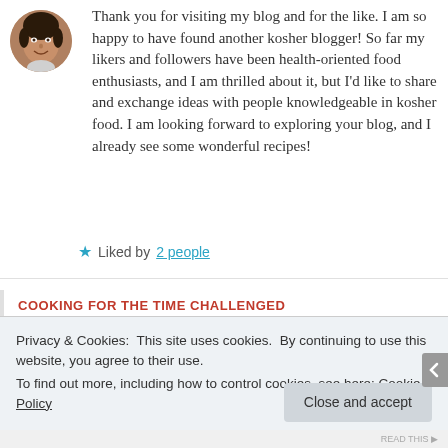Thank you for visiting my blog and for the like. I am so happy to have found another kosher blogger! So far my likers and followers have been health-oriented food enthusiasts, and I am thrilled about it, but I'd like to share and exchange ideas with people knowledgeable in kosher food. I am looking forward to exploring your blog, and I already see some wonderful recipes!
★ Liked by 2 people
COOKING FOR THE TIME CHALLENGED
Privacy & Cookies: This site uses cookies. By continuing to use this website, you agree to their use.
To find out more, including how to control cookies, see here: Cookie Policy
Close and accept